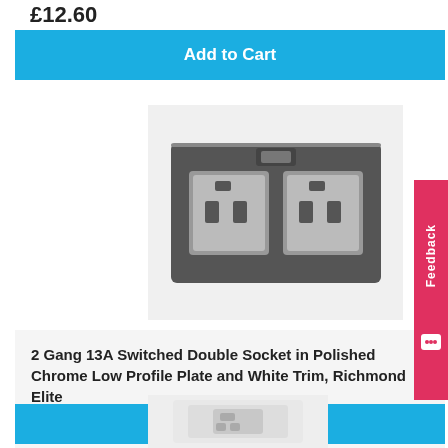£12.60
Add to Cart
[Figure (photo): Product photo of a 2 Gang 13A Switched Double Socket in Polished Chrome Low Profile Plate and White Trim, Richmond Elite.]
2 Gang 13A Switched Double Socket in Polished Chrome Low Profile Plate and White Trim, Richmond Elite
£15.27
Add to Cart
[Figure (photo): Partial view of another electrical socket product at the bottom of the page.]